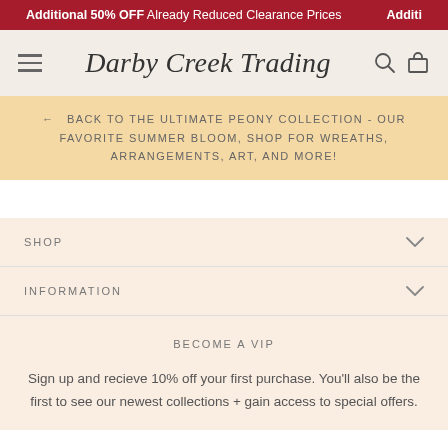Additional 50% OFF Already Reduced Clearance Prices
[Figure (logo): Darby Creek Trading script logo with hamburger menu, search and cart icons on beige background]
← BACK TO THE ULTIMATE PEONY COLLECTION - OUR FAVORITE SUMMER BLOOM, SHOP FOR WREATHS, ARRANGEMENTS, ART, AND MORE!
SHOP
INFORMATION
BECOME A VIP
Sign up and recieve 10% off your first purchase. You'll also be the first to see our newest collections + gain access to special offers.